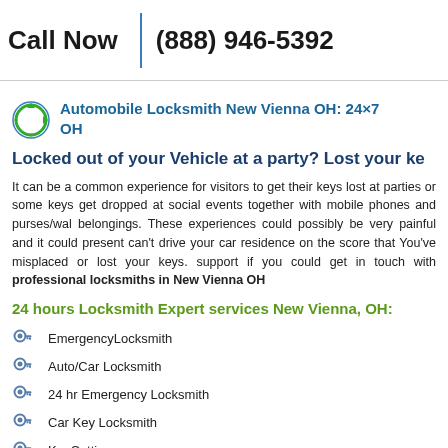Call Now  |  (888) 946-5392
Automobile Locksmith New Vienna OH: 24×7 OH
Locked out of your Vehicle at a party? Lost your ke
It can be a common experience for visitors to get their keys lost at parties or so... keys get dropped at social events together with mobile phones and purses/w... belongings. These experiences could possibly be very painful and it could prese... can't drive your car residence on the score that You've misplaced or lost your keys... support if you could get in touch with professional locksmiths in New Vienna OH
24 hours Locksmith Expert services New Vienna, OH:
EmergencyLocksmith
Auto/Car Locksmith
24 hr Emergency Locksmith
Car Key Locksmith
KeyCutting